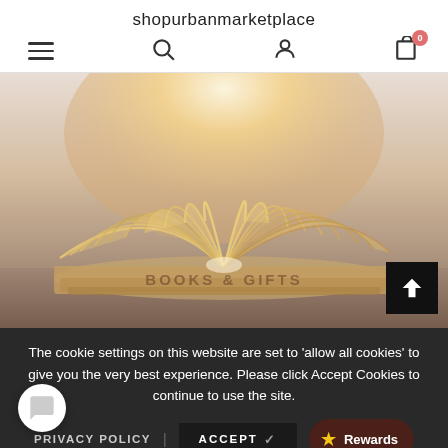shopurbanmarketplace
[Figure (photo): Open book with pages fanned out, backlit with warm golden light, resting on a wooden surface]
BOOKS & GIFTS
The cookie settings on this website are set to 'allow all cookies' to give you the very best experience. Please click Accept Cookies to continue to use the site.
PRIVACY POLICY   ACCEPT ✓
Rewards
Shop our collection of up to — its from books